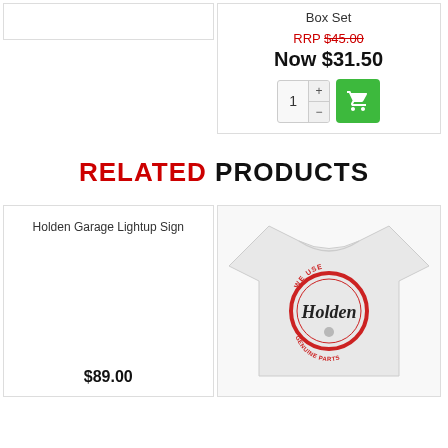Box Set
RRP $45.00
Now $31.50
RELATED PRODUCTS
Holden Garage Lightup Sign
$89.00
[Figure (photo): White t-shirt with red circular badge logo reading 'WE USE Holden GENUINE PARTS']